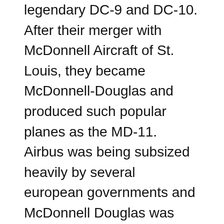legendary DC-9 and DC-10. After their merger with McDonnell Aircraft of St. Louis, they became McDonnell-Douglas and produced such popular planes as the MD-11. Airbus was being subsized heavily by several european governments and McDonnell Douglas was losing market share to #1 Boeing and #2 Airbus. McDonnell Douglas asked for government assistance (who can forget the Chrysler bailout...) so they could compete with the likes of Airbus which was being subsidized by foreign govenment. It wasn't a level playing field. After being denied